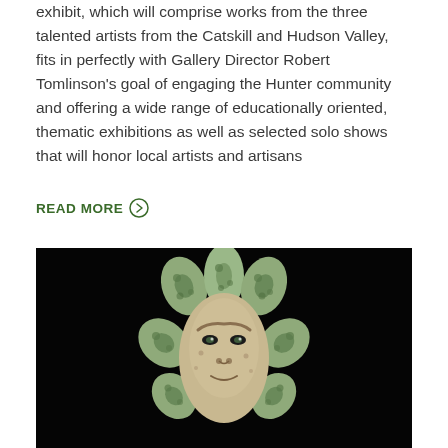exhibit, which will comprise works from the three talented artists from the Catskill and Hudson Valley, fits in perfectly with Gallery Director Robert Tomlinson's goal of engaging the Hunter community and offering a wide range of educationally oriented, thematic exhibitions as well as selected solo shows that will honor local artists and artisans
READ MORE →
[Figure (photo): A ceramic sculptural mask or figure photographed against a solid black background. The piece appears to be a stylized animal or mythological face with multiple rounded protrusions resembling antlers or ears, decorated with spotted patterns in green and tan/cream tones. The central face has furrowed brows and defined facial features.]